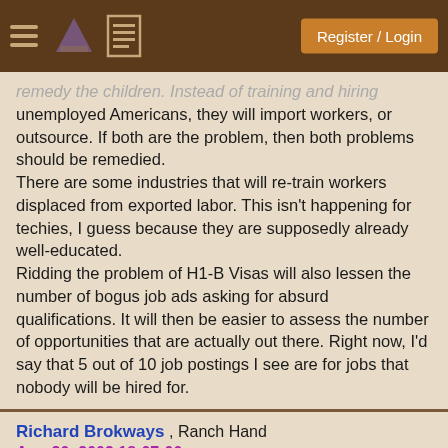Register / Login
remedy the children. Instead of training and hiring unemployed Americans, they will import workers, or outsource. If both are the problem, then both problems should be remedied.
There are some industries that will re-train workers displaced from exported labor. This isn't happening for techies, I guess because they are supposedly already well-educated.
Ridding the problem of H1-B Visas will also lessen the number of bogus job ads asking for absurd qualifications. It will then be easier to assess the number of opportunities that are actually out there. Right now, I'd say that 5 out of 10 job postings I see are for jobs that nobody will be hired for.
Richard Brokways , Ranch Hand
Aug 20, 2002 18:07:00
+Pie
reply